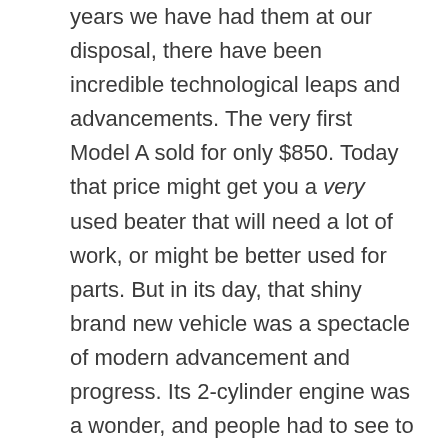years we have had them at our disposal, there have been incredible technological leaps and advancements. The very first Model A sold for only $850. Today that price might get you a very used beater that will need a lot of work, or might be better used for parts. But in its day, that shiny brand new vehicle was a spectacle of modern advancement and progress. Its 2-cylinder engine was a wonder, and people had to see to believe that it could actually reach a speed of 30 miles per hour. And our obsession with new vehicles has not much waned over time. In 1964 after the release of a new flashy model, the following Christmas saw 94,000 pedal-powered toy cars for